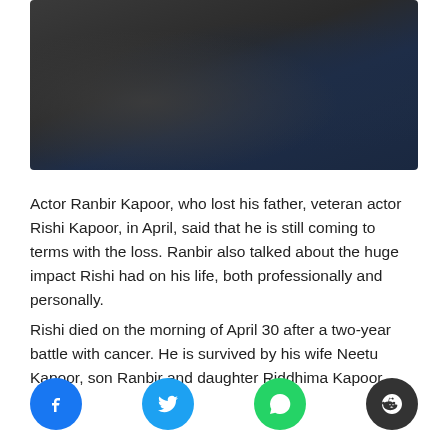[Figure (photo): Two men photographed together, one in black clothing on the left and one in dark navy/blue suit on the right, partial view from shoulders up]
Actor Ranbir Kapoor, who lost his father, veteran actor Rishi Kapoor, in April, said that he is still coming to terms with the loss. Ranbir also talked about the huge impact Rishi had on his life, both professionally and personally.
Rishi died on the morning of April 30 after a two-year battle with cancer. He is survived by his wife Neetu Kapoor, son Ranbir and daughter Riddhima Kapoor Sahni.
[Figure (infographic): Social media share buttons: Facebook (blue circle with f), Twitter (cyan circle with bird), WhatsApp (green circle with phone/chat icon), Reddit (dark circle with alien icon)]